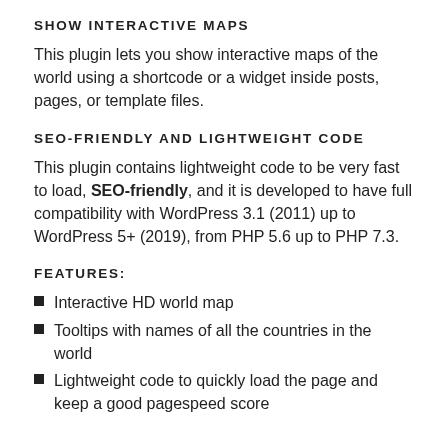SHOW INTERACTIVE MAPS
This plugin lets you show interactive maps of the world using a shortcode or a widget inside posts, pages, or template files.
SEO-FRIENDLY AND LIGHTWEIGHT CODE
This plugin contains lightweight code to be very fast to load, SEO-friendly, and it is developed to have full compatibility with WordPress 3.1 (2011) up to WordPress 5+ (2019), from PHP 5.6 up to PHP 7.3.
FEATURES:
Interactive HD world map
Tooltips with names of all the countries in the world
Lightweight code to quickly load the page and keep a good pagespeed score